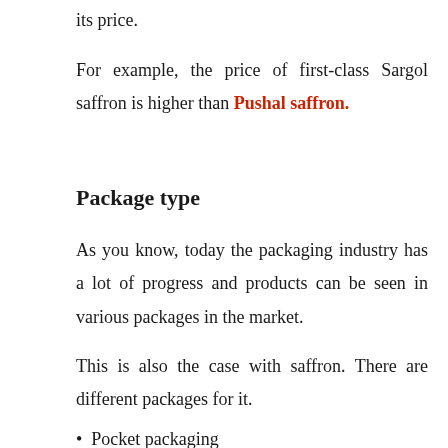its price.
For example, the price of first-class Sargol saffron is higher than Pushal saffron.
Package type
As you know, today the packaging industry has a lot of progress and products can be seen in various packages in the market.
This is also the case with saffron. There are different packages for it.
Pocket packaging